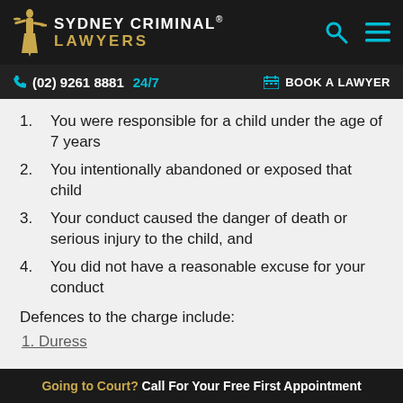[Figure (logo): Sydney Criminal Lawyers logo with gold figure and text]
(02) 9261 8881 24/7  BOOK A LAWYER
1. You were responsible for a child under the age of 7 years
2. You intentionally abandoned or exposed that child
3. Your conduct caused the danger of death or serious injury to the child, and
4. You did not have a reasonable excuse for your conduct
Defences to the charge include:
1. Duress
Going to Court? Call For Your Free First Appointment